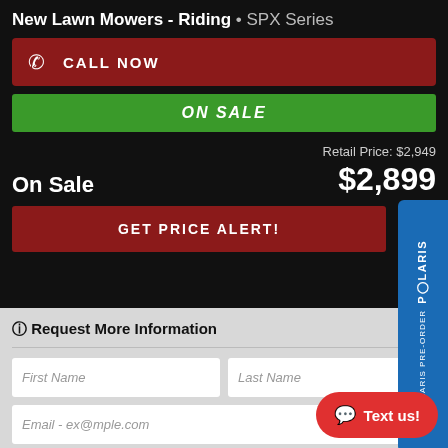New Lawn Mowers - Riding • SPX Series
CALL NOW
ON SALE
On Sale
Retail Price: $2,949
$2,899
GET PRICE ALERT!
[Figure (other): Polaris Pre-Order vertical tab banner in blue on the right side]
ℹ Request More Information
First Name
Last Name
Email - ex@mple.com
Phone Number - (__) __-____
Subscribe to Newsletter